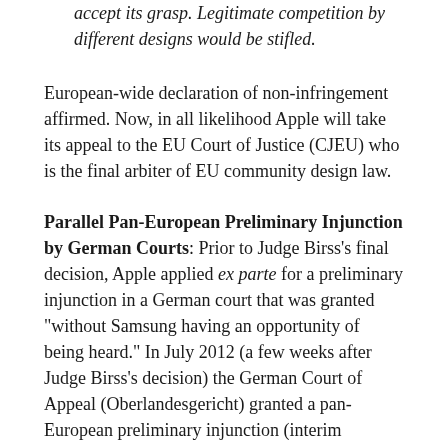accept its grasp. Legitimate competition by different designs would be stifled.
European-wide declaration of non-infringement affirmed. Now, in all likelihood Apple will take its appeal to the EU Court of Justice (CJEU) who is the final arbiter of EU community design law.
Parallel Pan-European Preliminary Injunction by German Courts: Prior to Judge Birss's final decision, Apple applied ex parte for a preliminary injunction in a German court that was granted "without Samsung having an opportunity of being heard." In July 2012 (a few weeks after Judge Birss's decision) the German Court of Appeal (Oberlandesgericht) granted a pan-European preliminary injunction (interim injunction) against the Galaxy 7.7. Under community design litigation rules, Judge Birss's decision takes precedent and lifts that preliminary injunction. In his opinion, Lord Justice Jacob was highly critical of the German courts for taking that approach